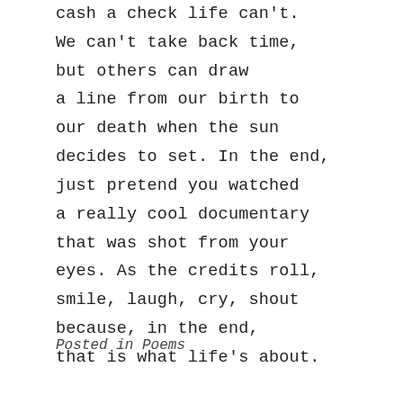cash a check life can't. We can't take back time, but others can draw a line from our birth to our death when the sun decides to set. In the end, just pretend you watched a really cool documentary that was shot from your eyes. As the credits roll, smile, laugh, cry, shout because, in the end, that is what life's about.
Posted in Poems